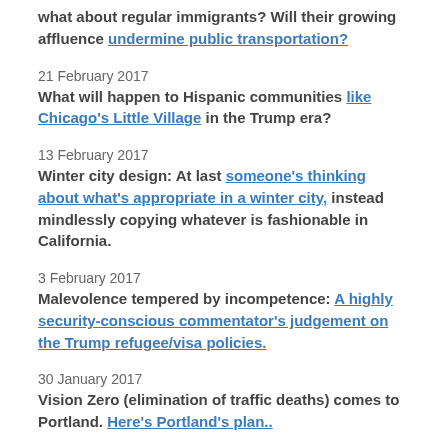what about regular immigrants? Will their growing affluence undermine public transportation?
21 February 2017
What will happen to Hispanic communities like Chicago's Little Village in the Trump era?
13 February 2017
Winter city design: At last someone's thinking about what's appropriate in a winter city, instead mindlessly copying whatever is fashionable in California.
3 February 2017
Malevolence tempered by incompetence: A highly security-conscious commentator's judgement on the Trump refugee/visa policies.
30 January 2017
Vision Zero (elimination of traffic deaths) comes to Portland. Here's Portland's plan..
23 January 2017
How Vancouver became North America's car-free capital: A really